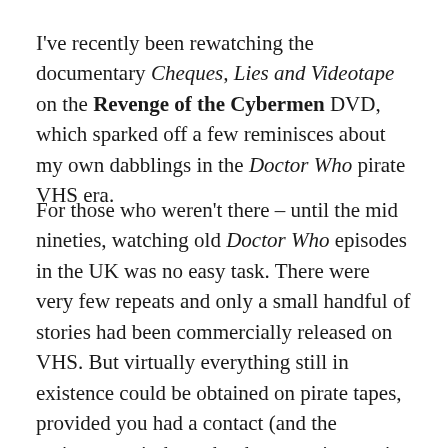I've recently been rewatching the documentary Cheques, Lies and Videotape on the Revenge of the Cybermen DVD, which sparked off a few reminisces about my own dabblings in the Doctor Who pirate VHS era.
For those who weren't there – until the mid nineties, watching old Doctor Who episodes in the UK was no easy task. There were very few repeats and only a small handful of stories had been commercially released on VHS. But virtually everything still in existence could be obtained on pirate tapes, provided you had a contact (and the patience to sit through nth generation copies which could be a trial on the eyes).